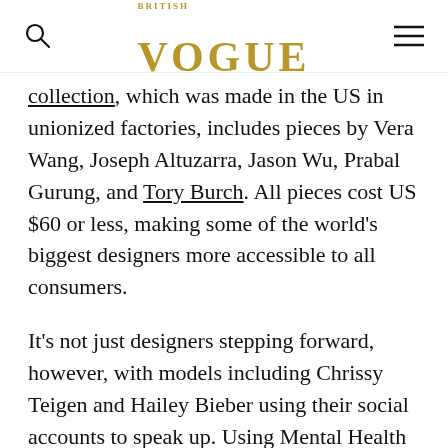VOGUE
collection, which was made in the US in unionized factories, includes pieces by Vera Wang, Joseph Altuzarra, Jason Wu, Prabal Gurung, and Tory Burch. All pieces cost US $60 or less, making some of the world's biggest designers more accessible to all consumers.
It's not just designers stepping forward, however, with models including Chrissy Teigen and Hailey Bieber using their social accounts to speak up. Using Mental Health Day on October 10 as a platform, Bieber posted an image of herself wearing a Biden T-shirt and asked followers to consider the